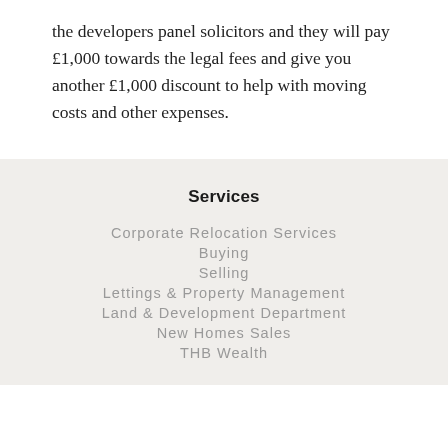the developers panel solicitors and they will pay £1,000 towards the legal fees and give you another £1,000 discount to help with moving costs and other expenses.
Services
Corporate Relocation Services
Buying
Selling
Lettings & Property Management
Land & Development Department
New Homes Sales
THB Wealth